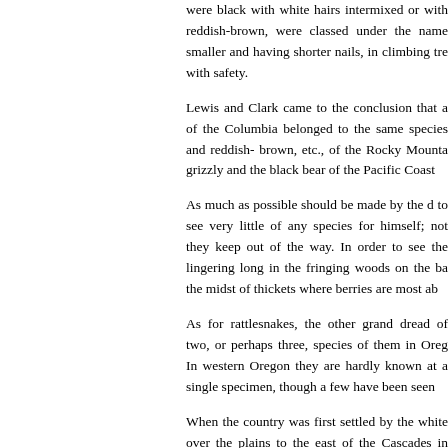were black with white hairs intermixed or with reddish-brown, were classed under the name smaller and having shorter nails, in climbing tre with safety.
Lewis and Clark came to the conclusion that a of the Columbia belonged to the same species and reddish- brown, etc., of the Rocky Mounta grizzly and the black bear of the Pacific Coast
As much as possible should be made by the d to see very little of any species for himself; not they keep out of the way. In order to see the lingering long in the fringing woods on the ba the midst of thickets where berries are most ab
As for rattlesnakes, the other grand dread of two, or perhaps three, species of them in Oreg In western Oregon they are hardly known at a single specimen, though a few have been seen
When the country was first settled by the white over the plains to the east of the Cascades in experienced hunters who know their haunts i they have been driven. So majestic an ani Countless thousands have been killed for m extinction as rapidly as the buffalo. The antelo farmers and cattle-men. Whether the moose st
On the highest mountains of the Cascade Ra